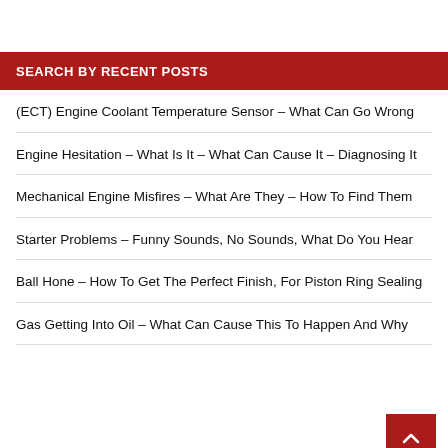SEARCH BY RECENT POSTS
(ECT) Engine Coolant Temperature Sensor – What Can Go Wrong
Engine Hesitation – What Is It – What Can Cause It – Diagnosing It
Mechanical Engine Misfires – What Are They – How To Find Them
Starter Problems – Funny Sounds, No Sounds, What Do You Hear
Ball Hone – How To Get The Perfect Finish, For Piston Ring Sealing
Gas Getting Into Oil – What Can Cause This To Happen And Why